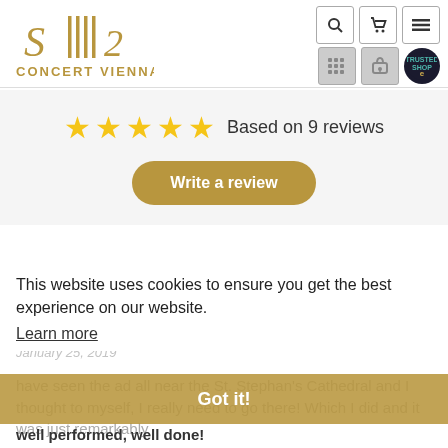[Figure (logo): Concert Vienna logo with stylized musical note/clef symbol in gold and 'CONCERT VIENNA' text below]
[Figure (screenshot): Header navigation icons: search, shopping cart, menu, grid, gift, trusted shop badge]
Based on 9 reviews
[Figure (other): Five gold stars rating]
Write a review
This website uses cookies to ensure you get the best experience on our website.
Learn more
Exquisite Experience
January 25, 2019
Got it!
have seen the ad all near the St. Stephan's Cathedral and I thought to myself, I really need to go there! Which I did and it was just remarkably well performed, well done!